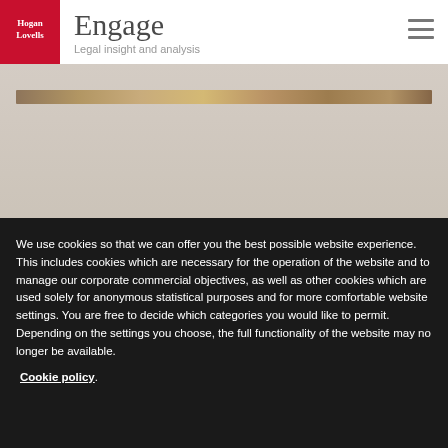[Figure (logo): Hogan Lovells logo — red rectangle with white text]
Engage
Legal insight and analysis
[Figure (photo): Decorative golden/brown horizontal banner image]
We use cookies so that we can offer you the best possible website experience. This includes cookies which are necessary for the operation of the website and to manage our corporate commercial objectives, as well as other cookies which are used solely for anonymous statistical purposes and for more comfortable website settings. You are free to decide which categories you would like to permit. Depending on the settings you choose, the full functionality of the website may no longer be available. Cookie policy.